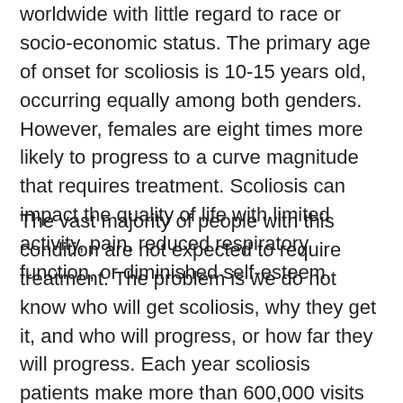worldwide with little regard to race or socio-economic status. The primary age of onset for scoliosis is 10-15 years old, occurring equally among both genders. However, females are eight times more likely to progress to a curve magnitude that requires treatment. Scoliosis can impact the quality of life with limited activity, pain, reduced respiratory function, or diminished self-esteem.
The vast majority of people with this condition are not expected to require treatment. The problem is we do not know who will get scoliosis, why they get it, and who will progress, or how far they will progress. Each year scoliosis patients make more than 600,000 visits to private physician offices, and an estimated 30,000 children are put into a brace for scoliosis, while 38,000 patients undergo spinal fusion surgery.